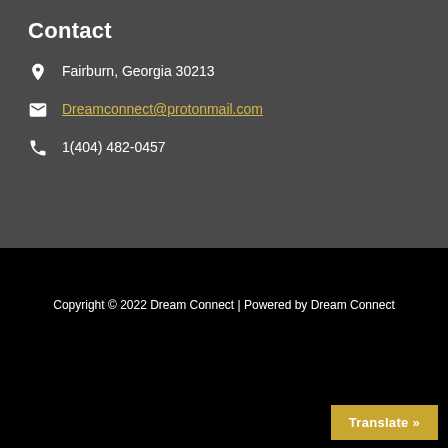Contact
Fairburn, Georgia 30213
Dreamconnect@protonmail.com
1(404) 482-0457
Copyright © 2022 Dream Connect | Powered by Dream Connect
Translate »